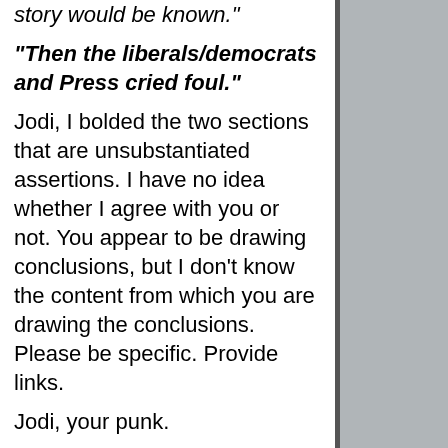story would be known."
"Then the liberals/democrats and Press cried foul."
Jodi, I bolded the two sections that are unsubstantiated assertions. I have no idea whether I agree with you or not. You appear to be drawing conclusions, but I don't know the content from which you are drawing the conclusions. Please be specific. Provide links.
Jodi, your punk.